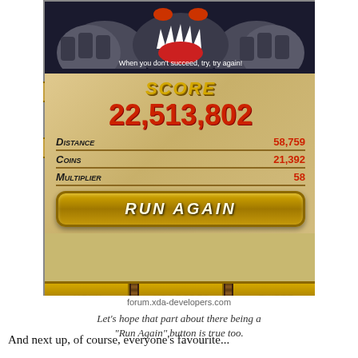[Figure (screenshot): Mobile game screenshot showing score screen: SCORE 22,513,802 with Distance 58,759, Coins 21,392, Multiplier 58, and RUN AGAIN button. Bottom bar shows MENU, UPGRADES, TWEET buttons.]
forum.xda-developers.com
Let's hope that part about there being a "Run Again" button is true too.
And next up, of course, everyone's favourite...